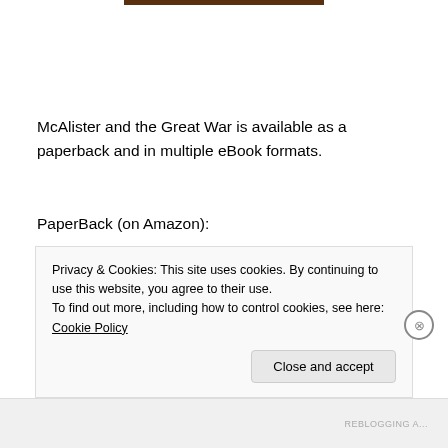McAlister and the Great War is available as a paperback and in multiple eBook formats.
PaperBack (on Amazon):
https://www.amazon.com/McAlister-Great-War-Line/dp/1925833038/ref=sr_1_3?s=books&ie=UTF8&qid=1539017047&sr=1-
Privacy & Cookies: This site uses cookies. By continuing to use this website, you agree to their use.
To find out more, including how to control cookies, see here: Cookie Policy
Close and accept